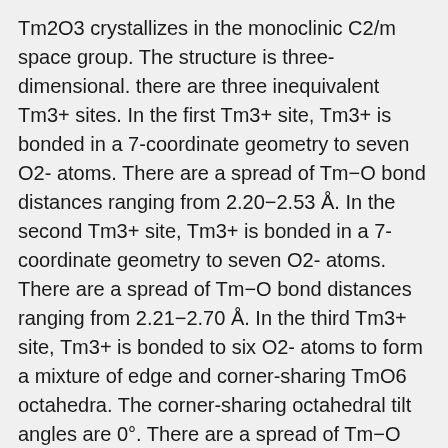Tm2O3 crystallizes in the monoclinic C2/m space group. The structure is three-dimensional. there are three inequivalent Tm3+ sites. In the first Tm3+ site, Tm3+ is bonded in a 7-coordinate geometry to seven O2- atoms. There are a spread of Tm−O bond distances ranging from 2.20−2.53 Å. In the second Tm3+ site, Tm3+ is bonded in a 7-coordinate geometry to seven O2- atoms. There are a spread of Tm−O bond distances ranging from 2.21−2.70 Å. In the third Tm3+ site, Tm3+ is bonded to six O2- atoms to form a mixture of edge and corner-sharing TmO6 octahedra. The corner-sharing octahedral tilt angles are 0°. There are a spread of Tm−O bond distances ranging from 2.17−2.43 Å. There are five inequivalent O2- sites. In the first O2- site, O2- is bonded to five Tm3+ atoms to form distorted OTm5 square pyramids that share corners with seven OTm4 tetrahedra, corners with two equivalent OTm4 trigonal pyramids, edges with two equivalent OTm6